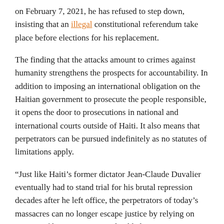on February 7, 2021, he has refused to step down, insisting that an illegal constitutional referendum take place before elections for his replacement.
The finding that the attacks amount to crimes against humanity strengthens the prospects for accountability. In addition to imposing an international obligation on the Haitian government to prosecute the people responsible, it opens the door to prosecutions in national and international courts outside of Haiti. It also means that perpetrators can be pursued indefinitely as no statutes of limitations apply.
“Just like Haiti’s former dictator Jean-Claude Duvalier eventually had to stand trial for his brutal repression decades after he left office, the perpetrators of today’s massacres can no longer escape justice by relying on statutes of limitations,” Joseph added.
The UN has raised alarm that the ongoing lack of accountability for massacres has fostered an enabling environment for further carnage. Yet another attack on Bel-